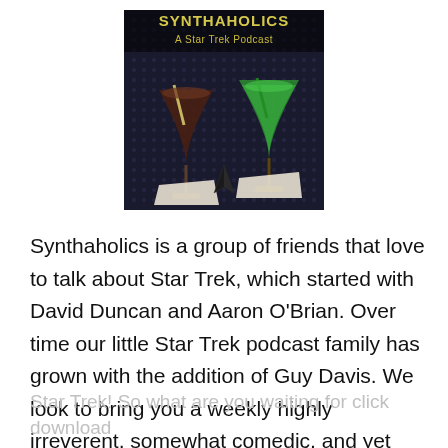[Figure (photo): Synthaholics podcast logo showing two cocktail glasses on a dark dotted surface with a Star Trek Starfleet insignia in the center. Text at top reads 'SYNTHAHOLICS A Star Trek Podcast' in yellow/gold letters.]
Synthaholics is a group of friends that love to talk about Star Trek, which started with David Duncan and Aaron O'Brian. Over time our little Star Trek podcast family has grown with the addition of Guy Davis. We look to bring you a weekly highly irreverent, somewhat comedic, and yet clearly passionate take on all things
Star Trek! So what are you waiting for click download